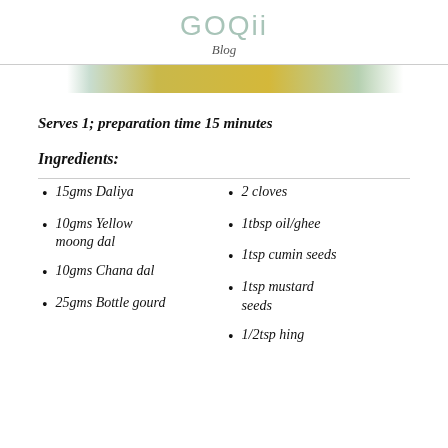GOQii
Blog
[Figure (photo): Partial photo of a food dish, yellow and green colors, cropped at top]
Serves 1; preparation time 15 minutes
Ingredients:
15gms Daliya
10gms Yellow moong dal
10gms Chana dal
25gms Bottle gourd
2 cloves
1tbsp oil/ghee
1tsp cumin seeds
1tsp mustard seeds
1/2tsp hing